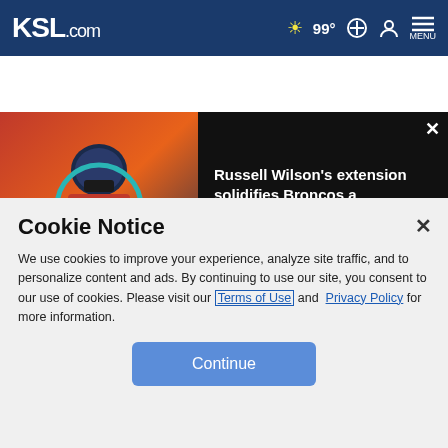KSL.com | 99° | Search | Account | MENU
[Figure (screenshot): Video thumbnail showing Denver Broncos player #3 with teal circle overlay, black background with headline text: Russell Wilson's extension solidifies Broncos a 'destination spot' in the NFL | THE HERD. Close button top right.]
material may not be published, broadcast, rewritten or redistributed.
ADVERTISEMENT
Cookie Notice
We use cookies to improve your experience, analyze site traffic, and to personalize content and ads. By continuing to use our site, you consent to our use of cookies. Please visit our Terms of Use and Privacy Policy for more information.
Continue